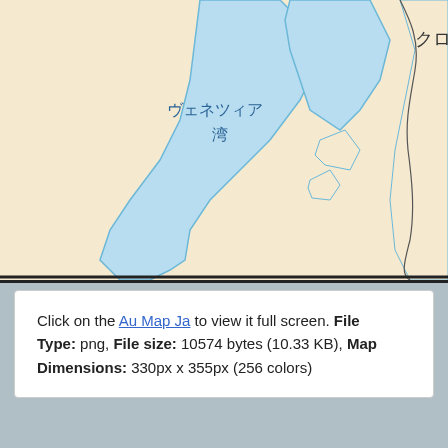[Figure (map): Partial view of a Japanese-labeled map showing the Adriatic Sea region (ヴェネツィア湾 - Gulf of Venice) with light blue water areas and beige land masses. Japanese text クロ visible at top right.]
Click on the Au Map Ja to view it full screen. File Type: png, File size: 10574 bytes (10.33 KB), Map Dimensions: 330px x 355px (256 colors)